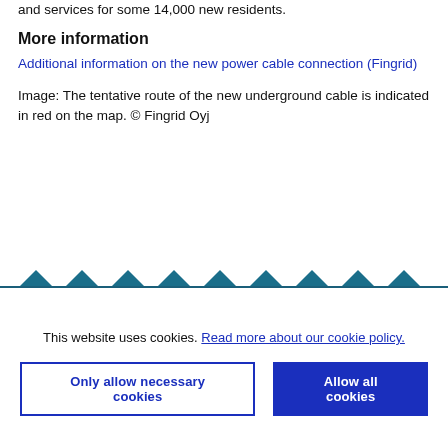and services for some 14,000 new residents.
More information
Additional information on the new power cable connection (Fingrid)
Image: The tentative route of the new underground cable is indicated in red on the map. © Fingrid Oyj
[Figure (illustration): Decorative row of dark teal/blue triangle shapes forming a border separator]
This website uses cookies. Read more about our cookie policy.
Only allow necessary cookies | Allow all cookies